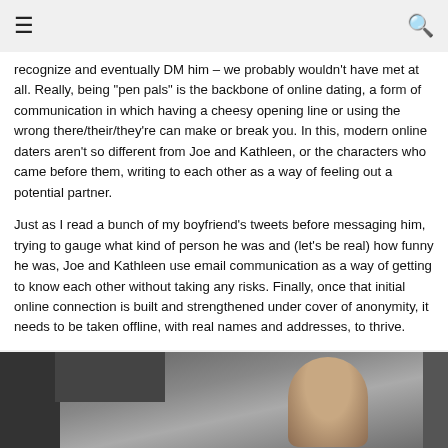≡  🔍
recognize and eventually DM him – we probably wouldn't have met at all. Really, being "pen pals" is the backbone of online dating, a form of communication in which having a cheesy opening line or using the wrong there/their/they're can make or break you. In this, modern online daters aren't so different from Joe and Kathleen, or the characters who came before them, writing to each other as a way of feeling out a potential partner.
Just as I read a bunch of my boyfriend's tweets before messaging him, trying to gauge what kind of person he was and (let's be real) how funny he was, Joe and Kathleen use email communication as a way of getting to know each other without taking any risks. Finally, once that initial online connection is built and strengthened under cover of anonymity, it needs to be taken offline, with real names and addresses, to thrive.
[Figure (photo): Partial photo of a person's face/head, darkened, partially cut off at the bottom of the page]